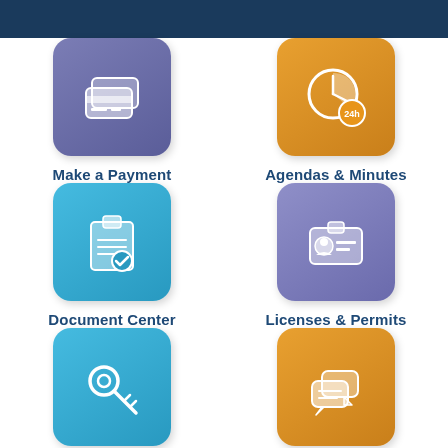[Figure (infographic): Government services menu with 6 icon tiles arranged in a 2x3 grid: Make a Payment (purple, credit card icon), Agendas & Minutes (orange, clock/pie icon with 24h), Document Center (cyan, clipboard/checklist icon), Licenses & Permits (lavender, ID card icon), Facility Rentals (cyan, keys icon), Report a Concern (orange, speech bubbles icon)]
Make a Payment
Agendas & Minutes
Document Center
Licenses & Permits
Facility Rentals
Report a Concern